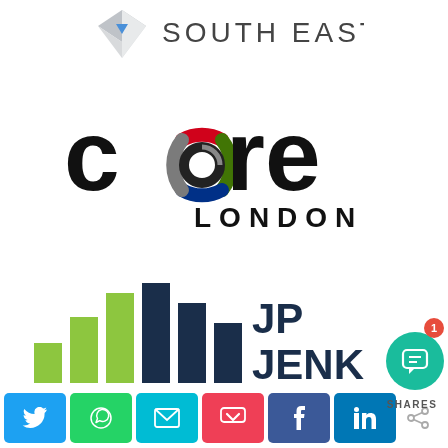[Figure (logo): South East logo with diamond/envelope shape icon and SOUTH EAST text]
[Figure (logo): Core London logo with colorful circular ring motif and bold lowercase 'core' text with LONDON subtitle]
[Figure (logo): JP Jenkins logo with green and navy bar chart icon and JP JENKINS text]
[Figure (infographic): Social sharing bar with Twitter, WhatsApp, Email, Pocket, Facebook, LinkedIn buttons and SHARES count with teal chat bubble notification badge showing 1]